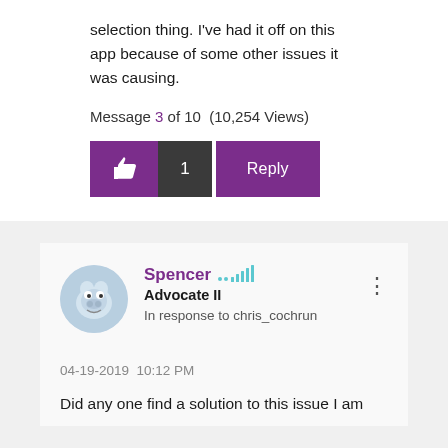selection thing. I've had it off on this app because of some other issues it was causing.
Message 3 of 10 (10,254 Views)
[Figure (screenshot): Action buttons: purple thumbs-up like button, dark count badge showing 1, purple Reply button]
[Figure (photo): User avatar showing a bulldog cartoon]
Spencer Advocate II In response to chris_cochrun
04-19-2019 10:12 PM
Did any one find a solution to this issue I am